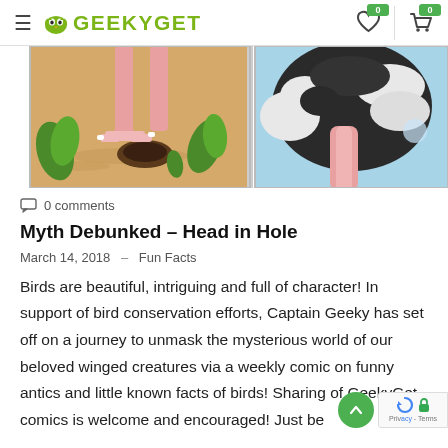GeekyGet — header with hamburger menu, logo, wishlist (0) and cart (0)
[Figure (illustration): Comic strip showing two panels: left panel shows ostrich legs/feet near a hole in sandy ground with green plants; right panel shows ostrich body (dark feathers, pink neck) with head down, blue background.]
0 comments
Myth Debunked – Head in Hole
March 14, 2018  –  Fun Facts
Birds are beautiful, intriguing and full of character! In support of bird conservation efforts, Captain Geeky has set off on a journey to unmask the mysterious world of our beloved winged creatures via a weekly comic on funny antics and little known facts of birds! Sharing of GeekyGet comics is welcome and encouraged! Just be